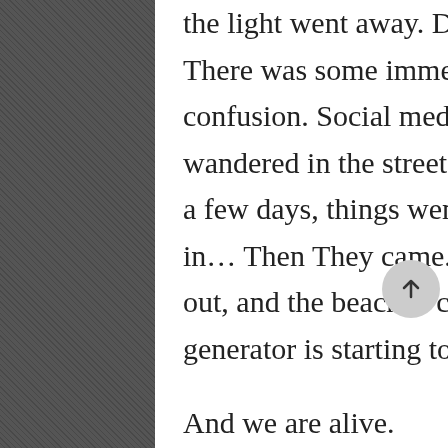the light went away. Day was gone and night was forever. There was some immediate panic but more surprise and confusion. Social media brightened every face that wandered in the streets. They told us not to panic and for a few days, things went on as they might as fear crept in… Then They came. Chaos erupted, the power went out, and the beach is covered in blood. Now your generator is starting to fail.

And we are alive.
[Figure (photo): A dark, nearly black photograph showing a dimly lit scene, very little detail visible due to extreme darkness.]